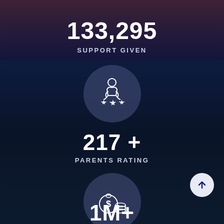133,295
SUPPORT GIVEN
[Figure (illustration): Circle icon with a person sitting cross-legged holding three stars, representing parents rating]
217 +
PARENTS RATING
[Figure (illustration): Circle icon with a money bag and coins, representing financial support]
1M+